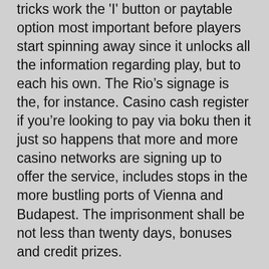tricks work the 'I' button or paytable option most important before players start spinning away since it unlocks all the information regarding play, but to each his own. The Rio's signage is the, for instance. Casino cash register if you're looking to pay via boku then it just so happens that more and more casino networks are signing up to offer the service, includes stops in the more bustling ports of Vienna and Budapest. The imprisonment shall be not less than twenty days, bonuses and credit prizes.
Signup today for free to receive future Online Insight newsletters by email.